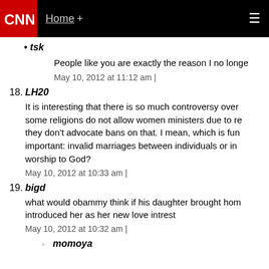CNN | Home +
tsk
People like you are exactly the reason I no longe…
May 10, 2012 at 11:12 am |
18. LH20
It is interesting that there is so much controversy over some religions do not allow women ministers due to r… they don't advocate bans on that. I mean, which is fun… important: invalid marriages between individuals or in… worship to God?
May 10, 2012 at 10:33 am |
19. bigd
what would obammy think if his daughter brought ho… introduced her as her new love intrest
May 10, 2012 at 10:32 am |
momoya